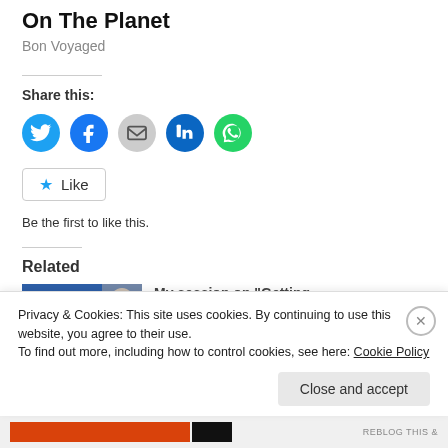On The Planet
Bon Voyaged
Share this:
[Figure (infographic): Social share buttons: Twitter (blue circle), Facebook (blue circle), Email (gray circle), LinkedIn (dark blue circle), WhatsApp (green circle)]
Like
Be the first to like this.
Related
[Figure (photo): Thumbnail image with blue background and text: Murugan Aidzurthu Dharmaztinan]
My session on "Getting
Privacy & Cookies: This site uses cookies. By continuing to use this website, you agree to their use.
To find out more, including how to control cookies, see here: Cookie Policy
Close and accept